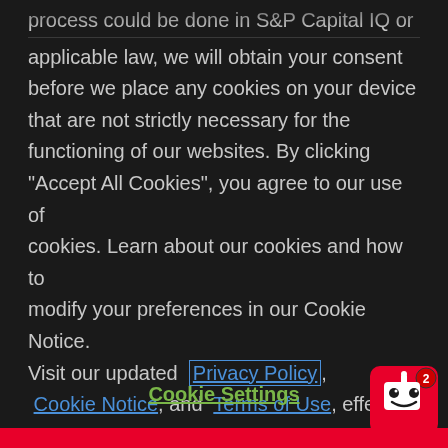process could be done in S&P Capital IQ or applicable law, we will obtain your consent before we place any cookies on your device that are not strictly necessary for the functioning of our websites. By clicking "Accept All Cookies", you agree to our use of cookies. Learn about our cookies and how to modify your preferences in our Cookie Notice. Visit our updated Privacy Policy, Cookie Notice, and Terms of Use, effective 28 February 2022.
Cookie Settings